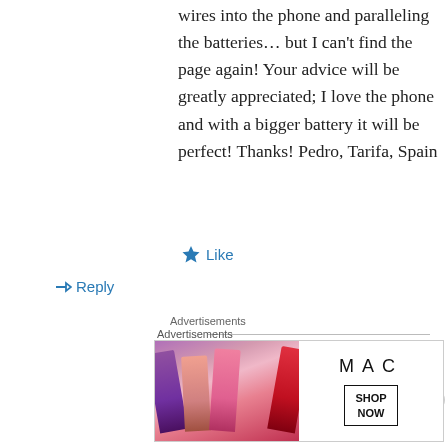wires into the phone and paralleling the batteries… but I can't find the page again! Your advice will be greatly appreciated; I love the phone and with a bigger battery it will be perfect! Thanks! Pedro, Tarifa, Spain
★ Like
↳ Reply
Advertisements
[Figure (logo): Automattic logo with circular O]
Build a better web
Advertisements
[Figure (photo): MAC cosmetics advertisement showing lipsticks with SHOP NOW button]